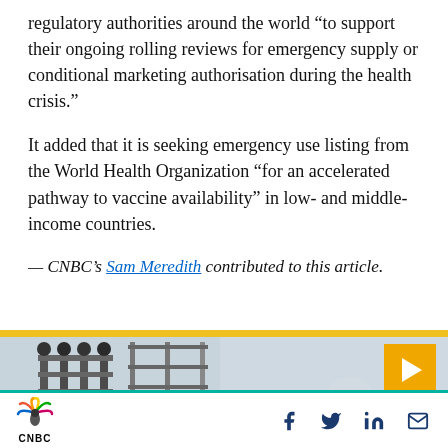regulatory authorities around the world “to support their ongoing rolling reviews for emergency supply or conditional marketing authorisation during the health crisis.”
It added that it is seeking emergency use listing from the World Health Organization “for an accelerated pathway to vaccine availability” in low- and middle-income countries.
— CNBC’s Sam Meredith contributed to this article.
[Figure (photo): Video thumbnail showing pharmaceutical/industrial machinery with a worker in a hair net; gold top bar and orange play button overlay in top-right corner.]
[Figure (logo): CNBC logo with peacock icon and social media icons (Facebook, Twitter, LinkedIn, Email) in the footer bar.]